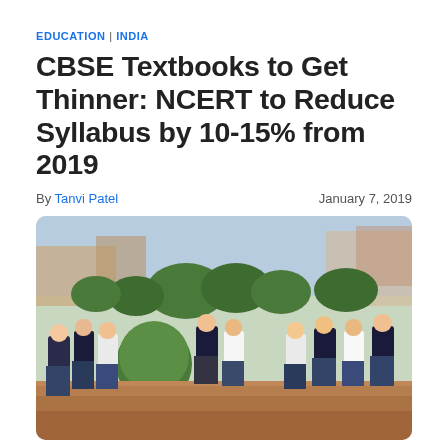EDUCATION | INDIA
CBSE Textbooks to Get Thinner: NCERT to Reduce Syllabus by 10-15% from 2019
By Tanvi Patel    January 7, 2019
[Figure (photo): School students in uniforms (black blazers, white shirts, dark skirts) walking in a school campus with green hedges and trees in the background.]